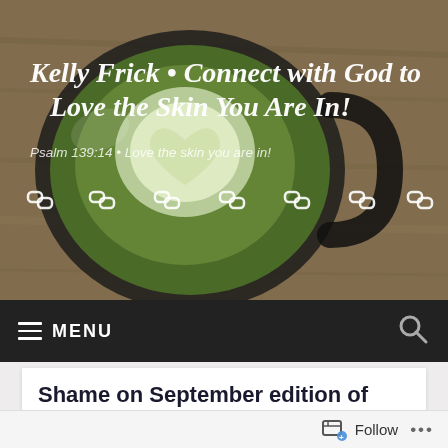[Figure (screenshot): Website header screenshot showing a matcha latte coffee cup photo background with cursive white site title and tagline, social link icons, and navigation menu bar]
Kelly Frick • Connect with God to Love the Skin You Are In!
Psalm 139:14 • Love the skin you are in!
≡ MENU
Shame on September edition of Shape Magazine
Follow ...